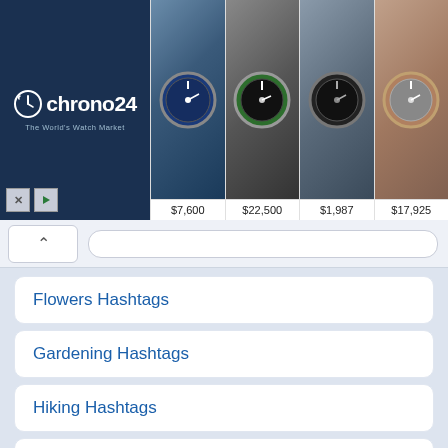[Figure (screenshot): Chrono24 advertisement banner showing luxury watch marketplace logo on dark blue background on the left, and four watch product photos with prices ($7,600, $22,500, $1,987, $17,925) on the right]
Flowers Hashtags
Gardening Hashtags
Hiking Hashtags
Interior Design Hashtags
Jeep Hashtags
Movie Hashtags